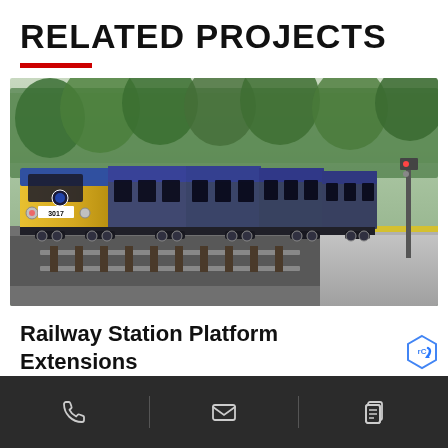RELATED PROJECTS
[Figure (photo): A blue and yellow modern commuter train (Northern Ireland Railways) at a station platform, with trees in the background and a yellow safety line on the platform edge.]
Railway Station Platform Extensions
Phone | Email | Copy icons